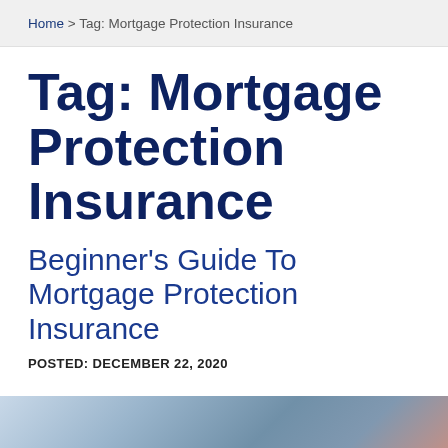Home > Tag: Mortgage Protection Insurance
Tag: Mortgage Protection Insurance
Beginner's Guide To Mortgage Protection Insurance
POSTED: DECEMBER 22, 2020
[Figure (photo): Partial photo strip at bottom of page showing people]